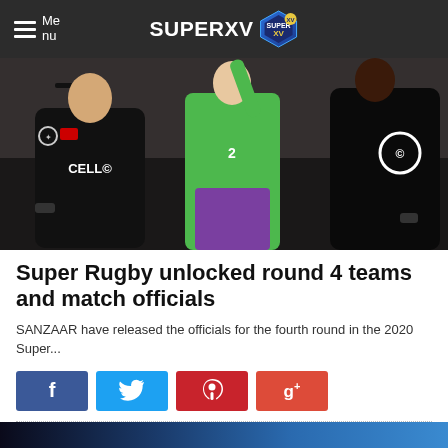Menu | SUPERXV
[Figure (photo): Rugby players in black uniforms with a referee in green raising his arm during a Super Rugby match]
Super Rugby unlocked round 4 teams and match officials
SANZAAR have released the officials for the fourth round in the 2020 Super...
Facebook share button
Twitter share button
Pinterest share button
Google+ share button
[Figure (photo): Bottom strip of another article image, partially visible]